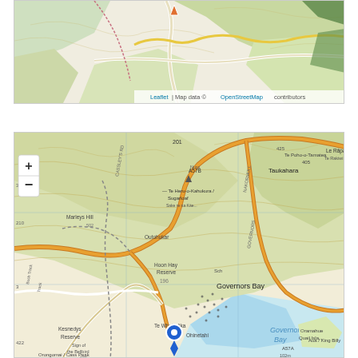[Figure (map): Top cropped map showing a topographic/road map with light green and white terrain, featuring paths, a yellow road trace, and an orange triangle marker at top. Attribution: Leaflet | Map data © OpenStreetMap contributors.]
[Figure (map): Bottom detailed topographic map showing Governors Bay area in New Zealand, including labeled features: Taukahara, Te Poho-o-Tamatea 405, Te Heru-o-Kahukura / Sugarloaf, Marleys Hill, Outohukar, Hoon Hay Reserve, Governors Bay, Oramahue / Quail Island, Kesnedys Reserve, Ohinetahi, Aua / King Billy, A57B, A57A 102m. Orange road traces, blue location pin marker near Ohinetahi, zoom +/- controls visible.]